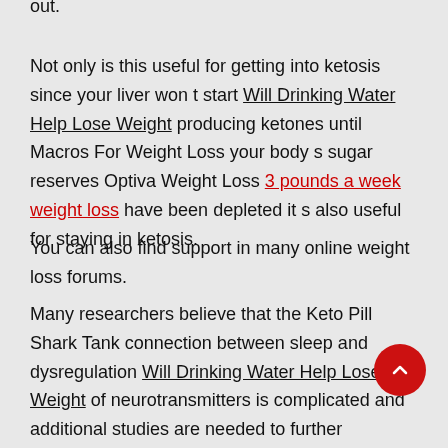out.
Not only is this useful for getting into ketosis since your liver won t start Will Drinking Water Help Lose Weight producing ketones until Macros For Weight Loss your body s sugar reserves Optiva Weight Loss 3 pounds a week weight loss have been depleted it s also useful for staying in ketosis.
You can also find support in many online weight loss forums.
Many researchers believe that the Keto Pill Shark Tank connection between sleep and dysregulation Will Drinking Water Help Lose Weight of neurotransmitters is complicated and additional studies are needed to further understand the neurobiological relationship.
In a bowl add the cottage cheese, onions, lemon juice, cumin powder Weight Loss Drink Shark Tank turmeric salt, and red